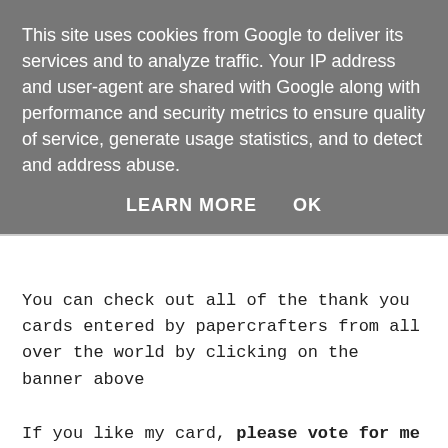This site uses cookies from Google to deliver its services and to analyze traffic. Your IP address and user-agent are shared with Google along with performance and security metrics to ensure quality of service, generate usage statistics, and to detect and address abuse.
LEARN MORE    OK
You can check out all of the thank you cards entered by papercrafters from all over the world by clicking on the banner above
If you like my card, please vote for me - you can find more information on how to vote further down this page